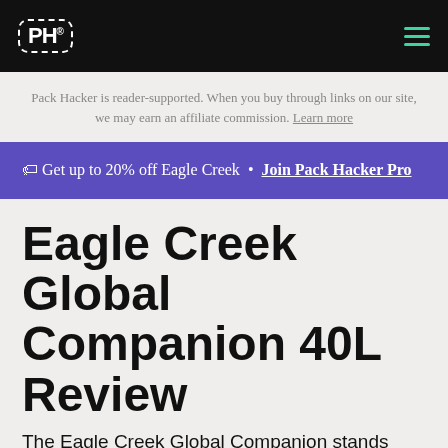Pack Hacker (PH logo) navigation header
Pack Hacker is reader-supported. When you buy through links on our site, we may earn an affiliate commission. Learn more
🏷 Get up to 20% off Eagle Creek • Join Pack Hacker Pro
Eagle Creek Global Companion 40L Review
The Eagle Creek Global Companion stands true to it's name and has shown some solid